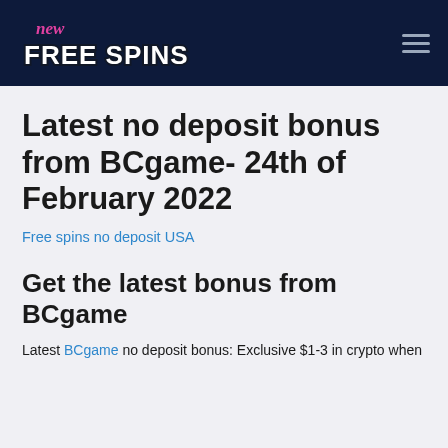new FREE SPINS
Latest no deposit bonus from BCgame- 24th of February 2022
Free spins no deposit USA
Get the latest bonus from BCgame
Latest BCgame no deposit bonus: Exclusive $1-3 in crypto when